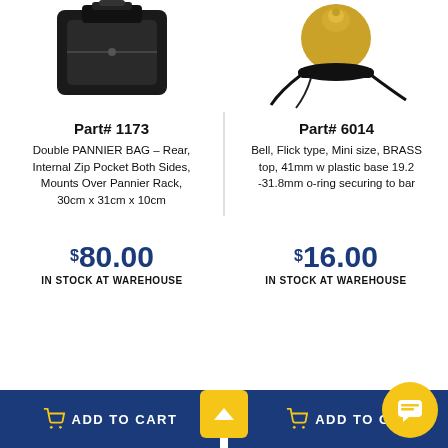[Figure (photo): Double pannier bag product photo - black bag viewed from above]
[Figure (photo): Brass bicycle bell product photo - gold top with black plastic base and wires]
Part# 1173
Part# 6014
Double PANNIER BAG – Rear, Internal Zip Pocket Both Sides, Mounts Over Pannier Rack, 30cm x 31cm x 10cm
Bell, Flick type, Mini size, BRASS top, 41mm w plastic base 19.2 -31.8mm o-ring securing to bar
$80.00
IN STOCK AT WAREHOUSE
$16.00
IN STOCK AT WAREHOUSE
ADD TO CART
ADD TO CART